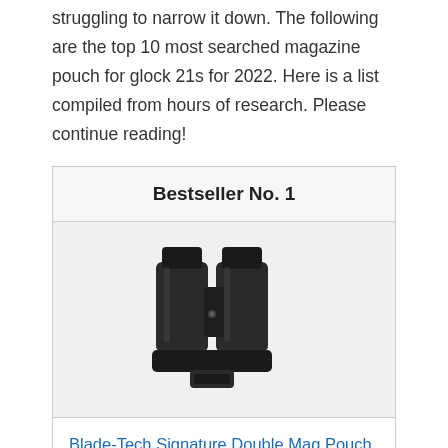struggling to narrow it down. The following are the top 10 most searched magazine pouch for glock 21s for 2022. Here is a list compiled from hours of research. Please continue reading!
Bestseller No. 1
[Figure (photo): Black double magazine pouch (Blade-Tech Signature Double Mag Pouch) shown from the front, holding two magazines side by side.]
Blade-Tech Signature Double Mag Pouch with Tek-Lok for Glock 20, 21, 29, 40, 41, H&K USP 45 and